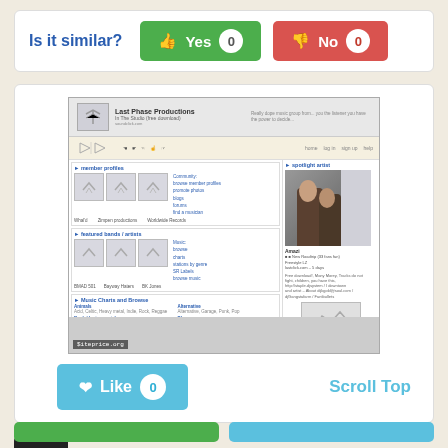Is it similar?
Yes 0
No 0
[Figure (screenshot): Screenshot of soundclick.com website showing Last Phase Productions page with member profiles, featured bands/artists, music charts and browse sections, and a spotlight artist image. A siteprice.org watermark is visible in the bottom-left corner.]
Like 0
Scroll Top
SC
soundclick.com